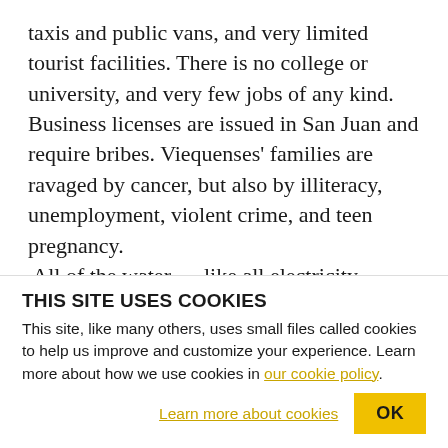taxis and public vans, and very limited tourist facilities. There is no college or university, and very few jobs of any kind. Business licenses are issued in San Juan and require bribes. Viequenses' families are ravaged by cancer, but also by illiteracy, unemployment, violent crime, and teen pregnancy. All of the water — like all electricity — comes in a pipe from the main island. Two of the residents said that the one resort on Vieques sometimes uses all the water. Seven thousand Viequenses sued the U.S. government over their health problems, but the U.S.
THIS SITE USES COOKIES
This site, like many others, uses small files called cookies to help us improve and customize your experience. Learn more about how we use cookies in our cookie policy.
Learn more about cookies